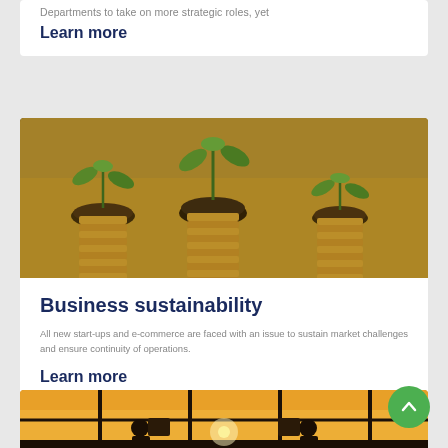Departments to take on more strategic roles, yet
Learn more
[Figure (photo): Stacks of gold coins with green plant seedlings growing out of soil on top of each stack, symbolizing financial growth and investment.]
Business sustainability
All new start-ups and e-commerce are faced with an issue to sustain market challenges and ensure continuity of operations.
Learn more
[Figure (photo): Silhouettes of people assembling puzzle pieces in front of large windows with a sunset sky, symbolizing collaboration and teamwork.]